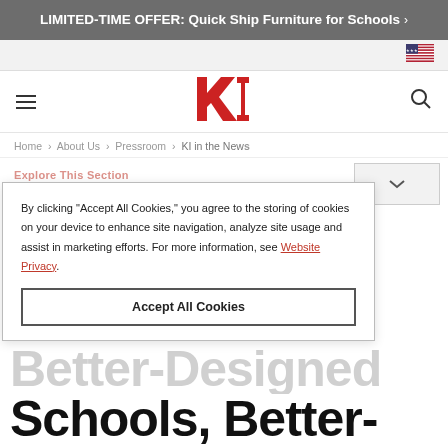LIMITED-TIME OFFER: Quick Ship Furniture for Schools >
[Figure (logo): US flag icon in top navigation bar]
[Figure (logo): KI company logo - red stylized KI letters]
Home > About Us > Pressroom > KI in the News
By clicking "Accept All Cookies," you agree to the storing of cookies on your device to enhance site navigation, analyze site usage and assist in marketing efforts. For more information, see Website Privacy.
Accept All Cookies
Explore This Section
KI in the News
Better-Designed Schools, Better-